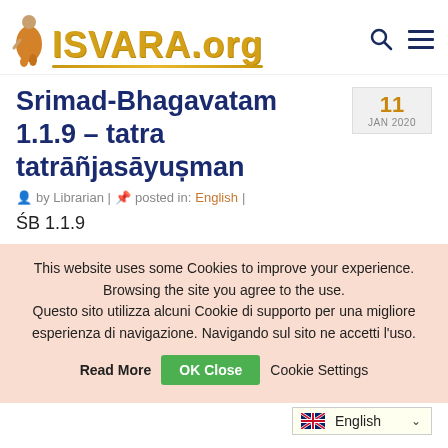[Figure (logo): ISVARA.org website logo with monk figure and golden lettered text ISVARA.org with search and hamburger menu icons]
Srimad-Bhagavatam 1.1.9 – tatra tatrāñjasāyuṣman
11 JAN 2020
by Librarian | posted in: English |
ŚB 1.1.9
This website uses some Cookies to improve your experience. Browsing the site you agree to the use. Questo sito utilizza alcuni Cookie di supporto per una migliore esperienza di navigazione. Navigando sul sito ne accetti l'uso.
Read More  OK Close  Cookie Settings
English